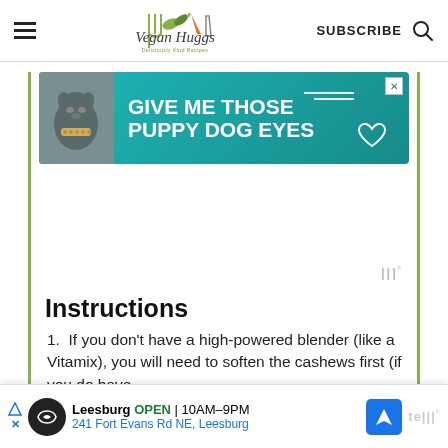Vegan Huggs — Deliciously Kind Recipes | SUBSCRIBE
[Figure (photo): Advertisement banner with teal background showing a dog and text 'GIVE ME THOSE PUPPY DOG EYES']
[Figure (logo): Mediavine logo marks (m° symbol in gray)]
Instructions
If you don't have a high-powered blender (like a Vitamix), you will need to soften the cashews first (if you do have
[Figure (infographic): Bottom banner ad for Leesburg store: OPEN 10AM-9PM, 241 Fort Evans Rd NE, Leesburg]